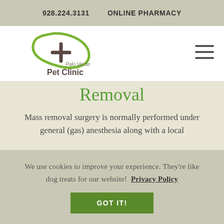928.224.3131   ONLINE PHARMACY
[Figure (logo): Palo Verde Pet Clinic logo with green leaf/plus sign icon and text]
Removal
Mass removal surgery is normally performed under general (gas) anesthesia along with a local
We use cookies to improve your experience. They're like dog treats for our website!  Privacy Policy
GOT IT!